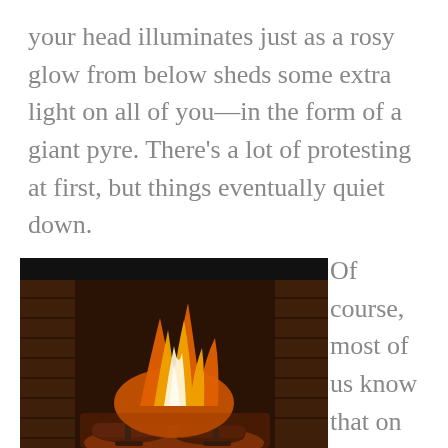your head illuminates just as a rosy glow from below sheds some extra light on all of you—in the form of a giant pyre. There's a lot of protesting at first, but things eventually quiet down.
[Figure (photo): A fireplace with logs burning with bright orange and yellow flames inside a brick firebox with metal andirons]
Of course, most of us know that on All